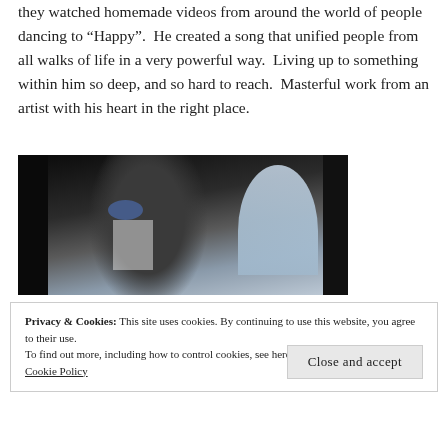they watched homemade videos from around the world of people dancing to “Happy”.  He created a song that unified people from all walks of life in a very powerful way.  Living up to something within him so deep, and so hard to reach.  Masterful work from an artist with his heart in the right place.
[Figure (photo): A person dancing or jumping in a doorway/archway, wearing a colorful scarf and casual outfit, with a bright snowy street scene visible through the window behind them. Dark door frames on either side.]
Privacy & Cookies: This site uses cookies. By continuing to use this website, you agree to their use.
To find out more, including how to control cookies, see here:
Cookie Policy
Close and accept